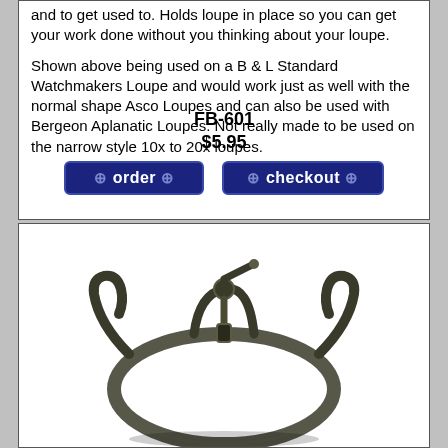and to get used to. Holds loupe in place so you can get your work done without you thinking about your loupe.

Shown above being used on a B & L Standard Watchmakers Loupe and would work just as well with the normal shape Asco Loupes and can also be used with Bergeon Aplanatic Loupes. Not really made to be used on the narrow style 10x to 20x loupes.
FB-601
$5.95
[Figure (other): order and checkout buttons (blue rounded rectangle buttons)]
[Figure (photo): Photo of a watchmaker loupe holder/bracket device, dark metal, showing curved frame and adjustable clip mechanism]